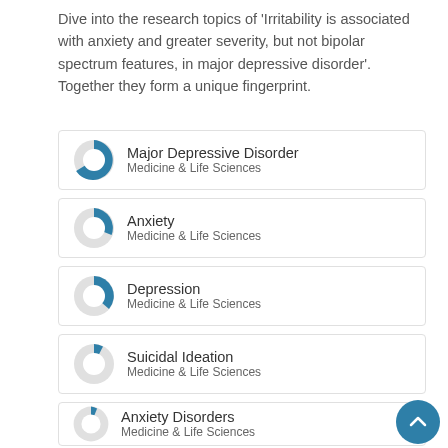Dive into the research topics of 'Irritability is associated with anxiety and greater severity, but not bipolar spectrum features, in major depressive disorder'. Together they form a unique fingerprint.
Major Depressive Disorder — Medicine & Life Sciences
Anxiety — Medicine & Life Sciences
Depression — Medicine & Life Sciences
Suicidal Ideation — Medicine & Life Sciences
Anxiety Disorders — Medicine & Life Sciences